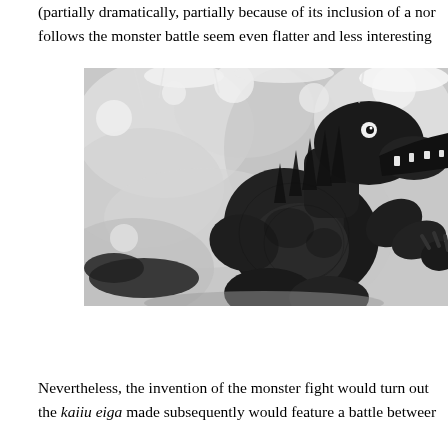(partially dramatically, partially because of its inclusion of a no... follows the monster battle seem even flatter and less interesting...
[Figure (photo): Black and white photograph of Godzilla (a man in a monster suit) surrounded by water spray and foam, facing right with mouth open showing teeth, clawed arm raised.]
Nevertheless, the invention of the monster fight would turn out the kaiiu eiga made subsequently would feature a battle between...